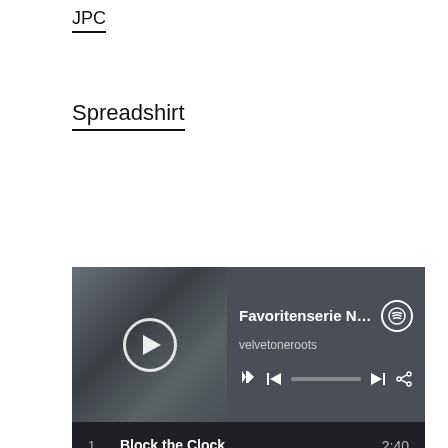JPC
Spreadshirt
[Figure (screenshot): Spotify music player widget showing 'Favoritenserie No.3 – V...' by velvetoneroots with album art and playback controls, followed by a tracklist with 5 songs: 1. Block the Clock - Velvetone (2:40), 2. Cash Is Gone - Velvetone (3:09), 3. Wild Night Out - Velvetone (2:58), 4. Pine Cone - Velvetone (3:53), 5. No Smoke - Velvetone (3:33)]